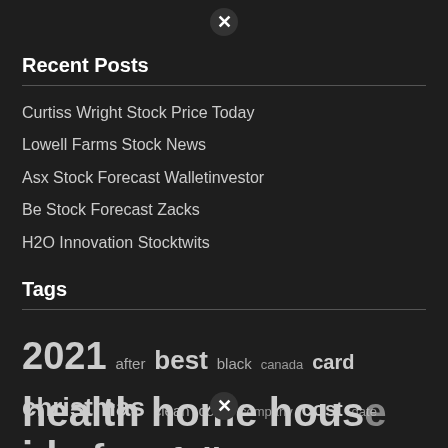Recent Posts
Curtiss Wright Stock Price Today
Lowell Farms Stock News
Asx Stock Forecast Walletinvestor
Be Stock Forecast Zacks
H2O Innovation Stocktwits
Tags
2021 after best black canada card christmas clean code company cost date does free full funeral game health home house ideas